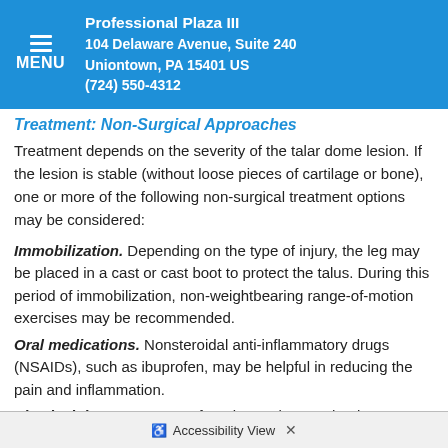Professional Plaza III
104 Delaware Avenue, Suite 240
Uniontown, PA 15401 US
(724) 550-4312
Treatment: Non-Surgical Approaches
Treatment depends on the severity of the talar dome lesion. If the lesion is stable (without loose pieces of cartilage or bone), one or more of the following non-surgical treatment options may be considered:
Immobilization. Depending on the type of injury, the leg may be placed in a cast or cast boot to protect the talus. During this period of immobilization, non-weightbearing range-of-motion exercises may be recommended.
Oral medications. Nonsteroidal anti-inflammatory drugs (NSAIDs), such as ibuprofen, may be helpful in reducing the pain and inflammation.
Physical therapy. Range-of-motion and strengthening exercises are beneficial once the lesion is adequately healed. Physical therapy may also include techniques to